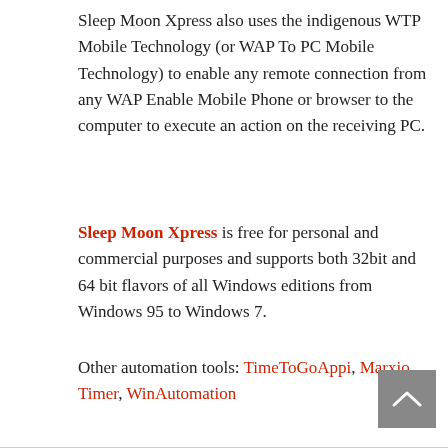Sleep Moon Xpress also uses the indigenous WTP Mobile Technology (or WAP To PC Mobile Technology) to enable any remote connection from any WAP Enable Mobile Phone or browser to the computer to execute an action on the receiving PC.
Sleep Moon Xpress is free for personal and commercial purposes and supports both 32bit and 64 bit flavors of all Windows editions from Windows 95 to Windows 7.
Other automation tools: TimeToGoAppi, Marxio Timer, WinAutomation